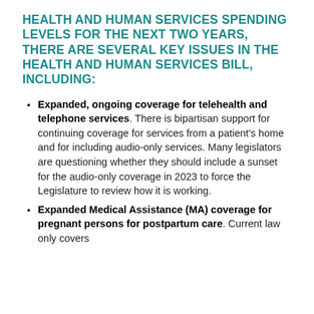HEALTH AND HUMAN SERVICES SPENDING LEVELS FOR THE NEXT TWO YEARS, THERE ARE SEVERAL KEY ISSUES IN THE HEALTH AND HUMAN SERVICES BILL, INCLUDING:
Expanded, ongoing coverage for telehealth and telephone services. There is bipartisan support for continuing coverage for services from a patient's home and for including audio-only services. Many legislators are questioning whether they should include a sunset for the audio-only coverage in 2023 to force the Legislature to review how it is working.
Expanded Medical Assistance (MA) coverage for pregnant persons for postpartum care. Current law only covers